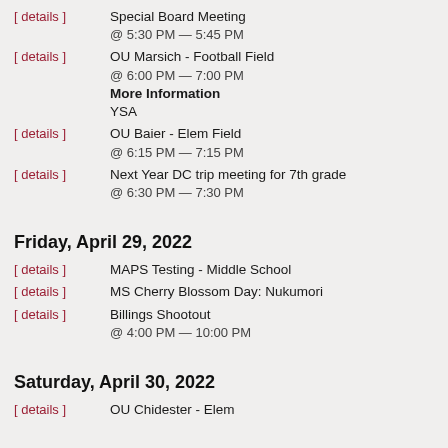[ details ]  Special Board Meeting  @ 5:30 PM — 5:45 PM
[ details ]  OU Marsich - Football Field  @ 6:00 PM — 7:00 PM  More Information  YSA
[ details ]  OU Baier - Elem Field  @ 6:15 PM — 7:15 PM
[ details ]  Next Year DC trip meeting for 7th grade  @ 6:30 PM — 7:30 PM
Friday, April 29, 2022
[ details ]  MAPS Testing - Middle School
[ details ]  MS Cherry Blossom Day: Nukumori
[ details ]  Billings Shootout  @ 4:00 PM — 10:00 PM
Saturday, April 30, 2022
[ details ]  OU Chidester - Elem